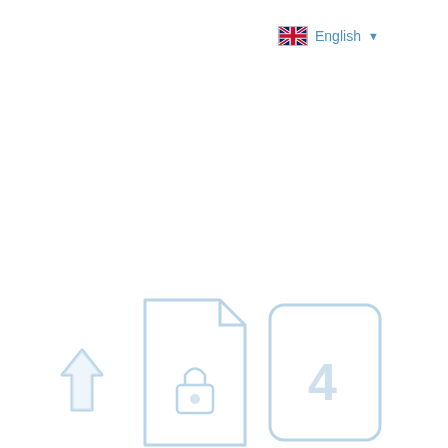The Nizhny Novgorod Center of Special Cars actively | English
In addition, the luminaire can be equipped with explo
DSP52-2-XXn in low-voltage design allows its use at installations – drilling, pumping, etc., according to th
[Figure (infographic): Three partially visible icons: an upload/arrow-up icon, a document with lock icon, and a rounded rectangle with a symbol, all rendered in light blue outline style]